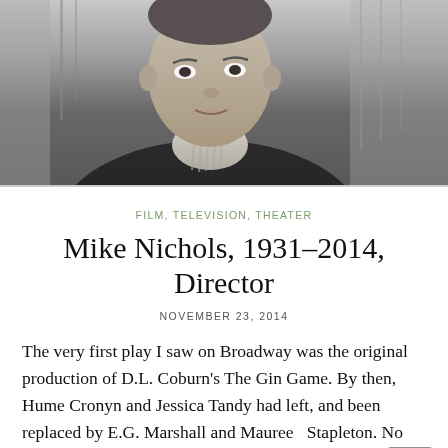[Figure (photo): Black and white photograph of Mike Nichols, a middle-aged man wearing a dark jacket and striped collared shirt, looking slightly to the side, photographed outdoors]
FILM, TELEVISION, THEATER
Mike Nichols, 1931–2014, Director
NOVEMBER 23, 2014
The very first play I saw on Broadway was the original production of D.L. Coburn's The Gin Game. By then, Hume Cronyn and Jessica Tandy had left, and been replaced by E.G. Marshall and Maureen Stapleton. No matter: it was still a once-in-a-life evening watching those two deliver performances